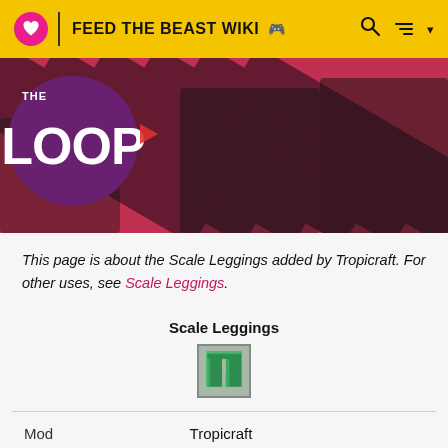FEED THE BEAST WIKI
[Figure (photo): Banner image showing The Loop promotional artwork with characters on a red diagonal striped background]
This page is about the Scale Leggings added by Tropicraft. For other uses, see Scale Leggings.
| Scale Leggings |  |
| --- | --- |
| Mod | Tropicraft |
| Type | Armor |